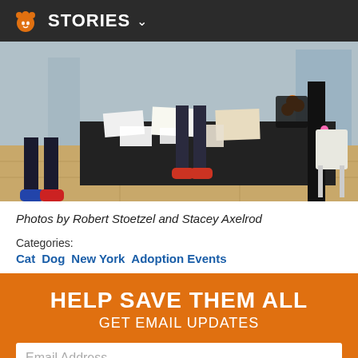STORIES
[Figure (photo): Indoor adoption event with people standing around a black-draped table with pamphlets, photos, and orange items on display. Wooden floor, interior setting.]
Photos by Robert Stoetzel and Stacey Axelrod
Categories: Cat Dog New York Adoption Events
HELP SAVE THEM ALL
GET EMAIL UPDATES
Email Address